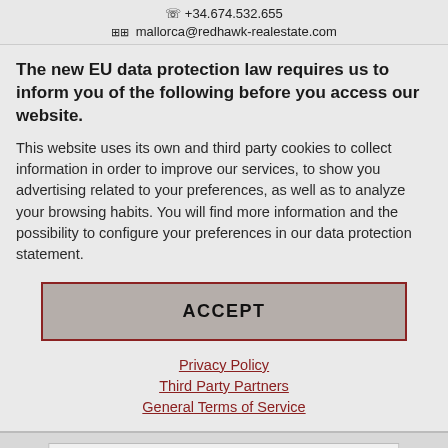📞 +34.674.532.655
✉ mallorca@redhawk-realestate.com
The new EU data protection law requires us to inform you of the following before you access our website.
This website uses its own and third party cookies to collect information in order to improve our services, to show you advertising related to your preferences, as well as to analyze your browsing habits. You will find more information and the possibility to configure your preferences in our data protection statement.
ACCEPT
Privacy Policy
Third Party Partners
General Terms of Service